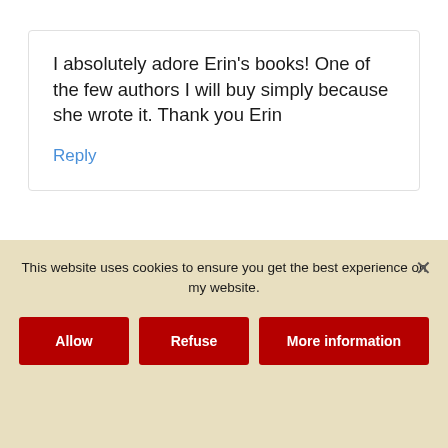I absolutely adore Erin's books! One of the few authors I will buy simply because she wrote it. Thank you Erin
Reply
Ka
October 31, 2019 at 2:25 pm
This website uses cookies to ensure you get the best experience on my website.